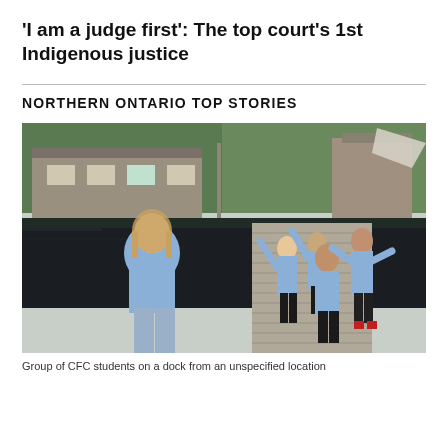'I am a judge first': The top court's 1st Indigenous justice
NORTHERN ONTARIO TOP STORIES
[Figure (photo): Group of people in blue sweatshirts posing on a wooden dock by dark water, with a building and trees in the background. One person stands in the foreground smiling, others pose with arms raised behind her.]
Group of CFC students on a dock from an unspecified location